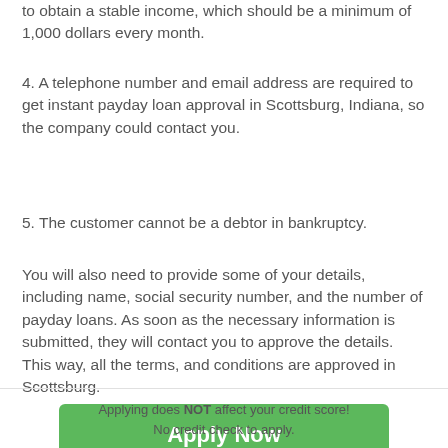to obtain a stable income, which should be a minimum of 1,000 dollars every month.
4. A telephone number and email address are required to get instant payday loan approval in Scottsburg, Indiana, so the company could contact you.
5. The customer cannot be a debtor in bankruptcy.
You will also need to provide some of your details, including name, social security number, and the number of payday loans. As soon as the necessary information is submitted, they will contact you to approve the details. This way, all the terms, and conditions are approved in Scottsburg.
Apply Now
Applying does NOT affect your credit score!
No credit check to apply.